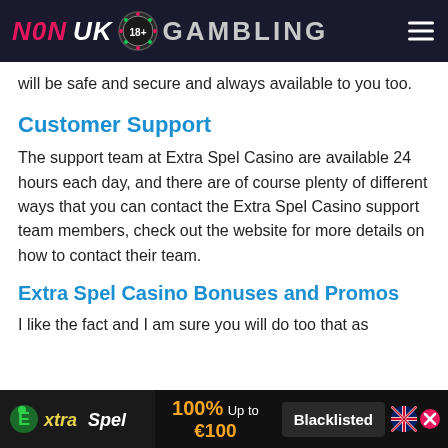N0N UK 18+ GAMBLING
will be safe and secure and always available to you too.
Customer Support
The support team at Extra Spel Casino are available 24 hours each day, and there are of course plenty of different ways that you can contact the Extra Spel Casino support team members, check out the website for more details on how to contact their team.
Extra Spel Casino Bonuses and Promos
I like the fact and I am sure you will do too that as
Extra Spel | 100% Up to €100 | Blacklisted